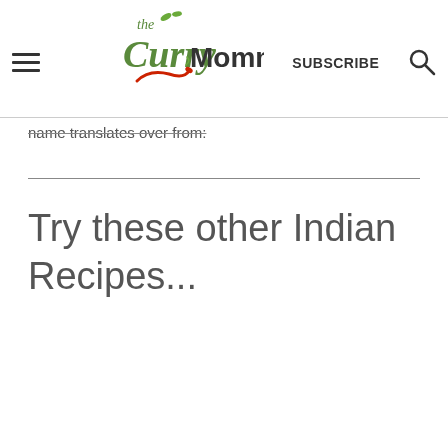the Curry Mommy | SUBSCRIBE
name translates over from:
Try these other Indian Recipes...